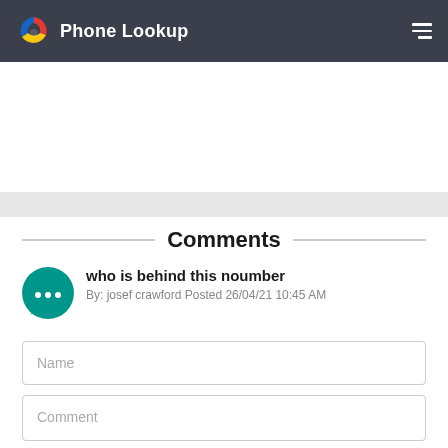Phone Lookup
[Figure (other): Advertisement / banner area placeholder (white and gray band)]
Comments
who is behind this noumber
By: josef crawford Posted 26/04/21 10:45 AM
Name
Comment